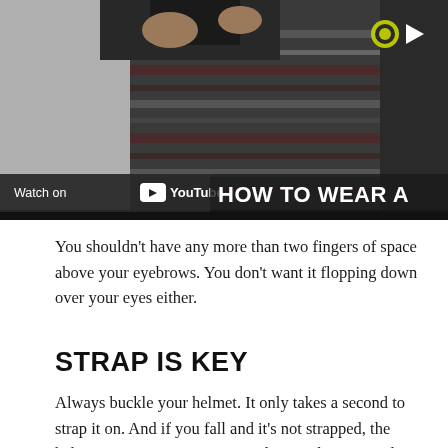[Figure (screenshot): YouTube video thumbnail showing a person adjusting a helmet, with 'Watch on YouTube' bar at bottom left and 'HOW TO WEAR A' text overlay at bottom right, and a play button in the top right area.]
You shouldn't have any more than two fingers of space above your eyebrows. You don't want it flopping down over your eyes either.
STRAP IS KEY
Always buckle your helmet. It only takes a second to strap it on. And if you fall and it's not strapped, the helmet isn't going to stay on and won't do any good. Plus, you're not looking